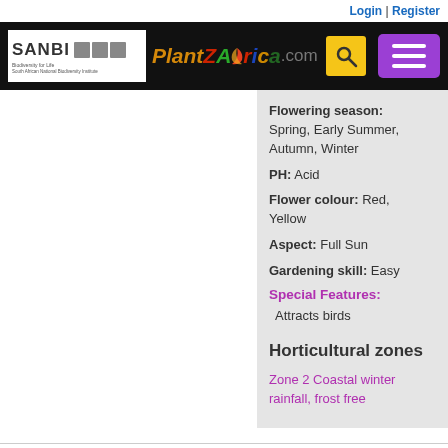Login | Register
[Figure (logo): SANBI and PlantZAfrica.com navigation bar with search and hamburger menu]
Flowering season: Spring, Early Summer, Autumn, Winter
PH: Acid
Flower colour: Red, Yellow
Aspect: Full Sun
Gardening skill: Easy
Special Features:
Attracts birds
Horticultural zones
Zone 2 Coastal winter rainfall, frost free